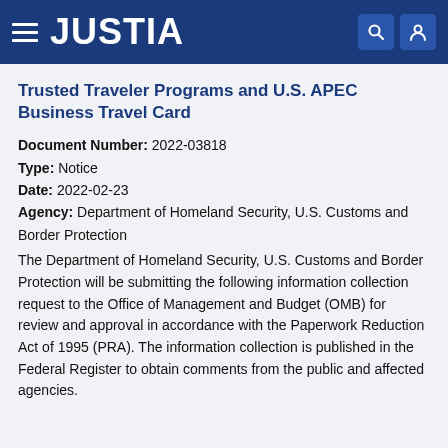JUSTIA
Trusted Traveler Programs and U.S. APEC Business Travel Card
Document Number: 2022-03818
Type: Notice
Date: 2022-02-23
Agency: Department of Homeland Security, U.S. Customs and Border Protection
The Department of Homeland Security, U.S. Customs and Border Protection will be submitting the following information collection request to the Office of Management and Budget (OMB) for review and approval in accordance with the Paperwork Reduction Act of 1995 (PRA). The information collection is published in the Federal Register to obtain comments from the public and affected agencies.